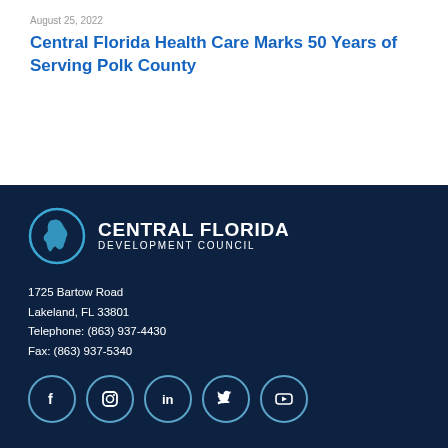August 25, 2022
Central Florida Health Care Marks 50 Years of Serving Polk County
[Figure (logo): Central Florida Development Council logo with circular Florida map icon and bold text]
1725 Bartow Road
Lakeland, FL 33801
Telephone: (863) 937-4430
Fax: (863) 937-5340
[Figure (infographic): Row of social media icons: Facebook, Instagram, LinkedIn, Twitter, YouTube]